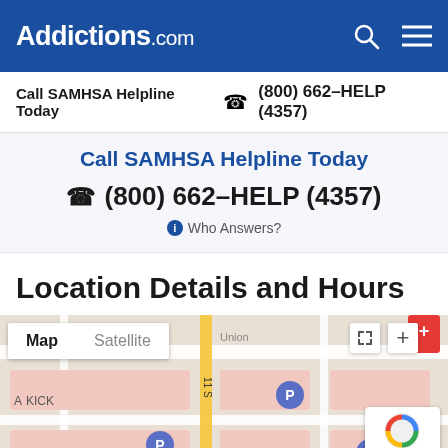Addictions.com
Call SAMHSA Helpline Today  (800) 662-HELP (4357)
Call SAMHSA Helpline Today
(800) 662-HELP (4357)
Who Answers?
Location Details and Hours
[Figure (map): Google Maps view with Map/Satellite toggle, showing street map with parking markers (P), a red pin marker, and reCAPTCHA badge. Streets and blocks visible.]